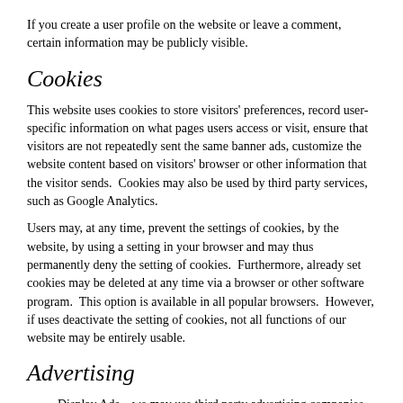If you create a user profile on the website or leave a comment, certain information may be publicly visible.
Cookies
This website uses cookies to store visitors' preferences, record user-specific information on what pages users access or visit, ensure that visitors are not repeatedly sent the same banner ads, customize the website content based on visitors' browser or other information that the visitor sends.  Cookies may also be used by third party services, such as Google Analytics.
Users may, at any time, prevent the settings of cookies, by the website, by using a setting in your browser and may thus permanently deny the setting of cookies.  Furthermore, already set cookies may be deleted at any time via a browser or other software program.  This option is available in all popular browsers.  However, if uses deactivate the setting of cookies, not all functions of our website may be entirely usable.
Advertising
Display Ads – we may use third party advertising companies to serve content and advertisement to you when you visit the website, which may contain cookies. No personally identifiable information is shared with the ad providers.
Retargeting Ads – occasionally, the website may engage in